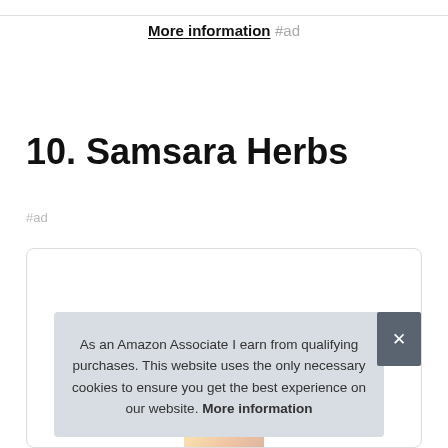More information #ad
10. Samsara Herbs
#ad
As an Amazon Associate I earn from qualifying purchases. This website uses the only necessary cookies to ensure you get the best experience on our website. More information